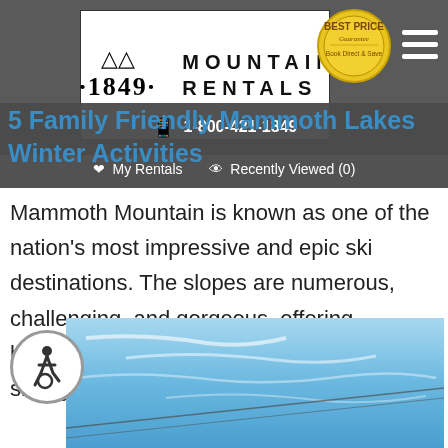[Figure (logo): 1849 Mountain Rentals logo in white box with mountain icon, Best Price Guarantee badge, and hamburger menu]
5 Family Friendly Mammoth Lakes Winter Activities
1-800-421-1849   My Rentals   Recently Viewed (0)
Mammoth Mountain is known as one of the nation’s most impressive and epic ski destinations. The slopes are numerous, challenging, and gorgeous, offering breathtaking views as visitors glide along snowy […]
[Figure (photo): Blue sky with cloud streaks, partial view]